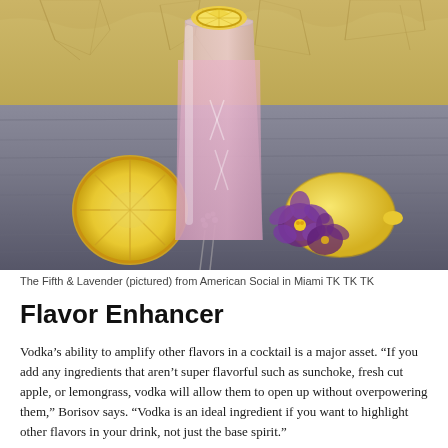[Figure (photo): A pink cocktail in a crystal glass garnished with a lemon slice, surrounded by a halved lemon, a whole lemon, purple pansy flowers and lavender sprigs on a wooden surface with a cracked wall background.]
The Fifth & Lavender (pictured) from American Social in Miami TK TK TK
Flavor Enhancer
Vodka’s ability to amplify other flavors in a cocktail is a major asset. “If you add any ingredients that aren’t super flavorful such as sunchoke, fresh cut apple, or lemongrass, vodka will allow them to open up without overpowering them,” Borisov says. “Vodka is an ideal ingredient if you want to highlight other flavors in your drink, not just the base spirit.”